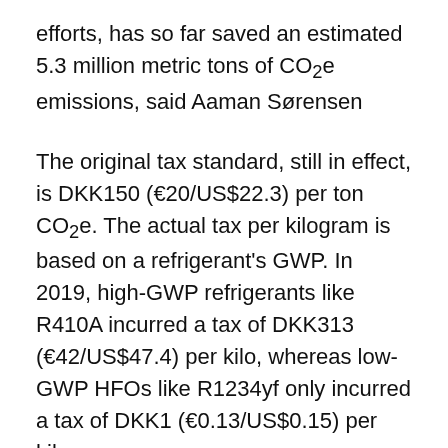efforts, has so far saved an estimated 5.3 million metric tons of CO₂e emissions, said Aaman Sørensen
The original tax standard, still in effect, is DKK150 (€20/US$22.3) per ton CO₂e. The actual tax per kilogram is based on a refrigerant's GWP. In 2019, high-GWP refrigerants like R410A incurred a tax of DKK313 (€42/US$47.4) per kilo, whereas low-GWP HFOs like R1234yf only incurred a tax of DKK1 (€0.13/US$0.15) per kilo.
However, as the rate of decrease in HFC imports has leveled off, Denmark decided to revise and increase the tax last month, in an effort to spark renewed conversion to lower GWP refrigerants. The new tax